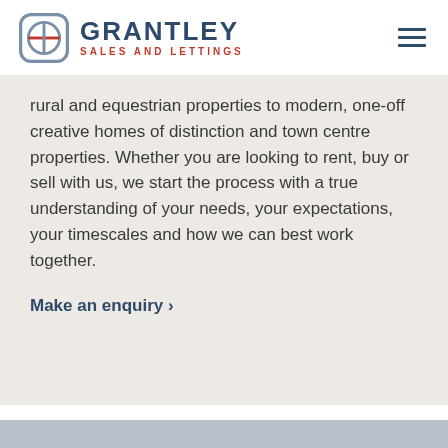[Figure (logo): Grantley Sales and Lettings logo — circular G icon with crossbar and shield outline in dark navy/grey, next to bold navy text 'GRANTLEY' and smaller red text 'SALES AND LETTINGS']
[Figure (other): Hamburger menu icon — three horizontal navy lines]
rural and equestrian properties to modern, one-off creative homes of distinction and town centre properties. Whether you are looking to rent, buy or sell with us, we start the process with a true understanding of your needs, your expectations, your timescales and how we can best work together.
Make an enquiry ›